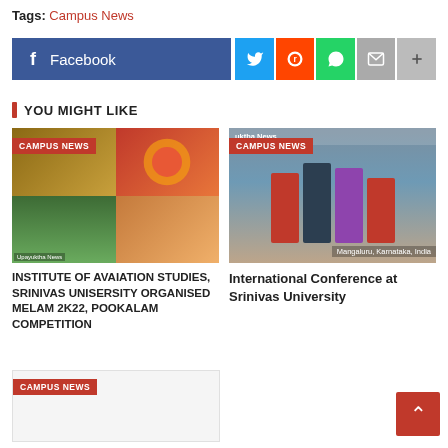Tags: Campus News
[Figure (infographic): Social share bar with Facebook, Twitter, Reddit, WhatsApp, Mail, and More buttons]
YOU MIGHT LIKE
[Figure (photo): Collage of campus event photos with CAMPUS NEWS badge and Upayuktha News credit - Institute of Aviation Studies Melam 2k22 Pookalam Competition]
INSTITUTE OF AVAIATION STUDIES, SRINIVAS UNISERSITY ORGANISED MELAM 2K22, POOKALAM COMPETITION
[Figure (photo): Group photo of people holding certificates with CAMPUS NEWS badge, Mangaluru Karnataka India credit - International Conference at Srinivas University]
International Conference at Srinivas University
[Figure (photo): Partial campus news card at bottom with CAMPUS NEWS badge]